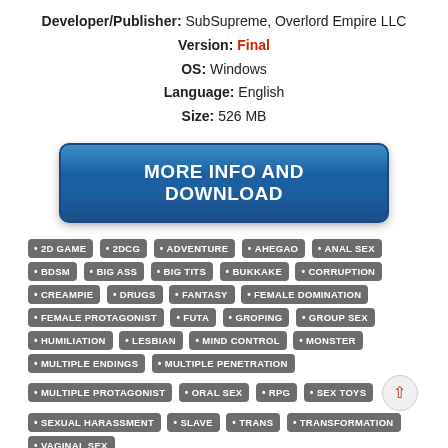Developer/Publisher: SubSupreme, Overlord Empire LLC
Version: Final
OS: Windows
Language: English
Size: 526 MB
[Figure (other): Blue gradient button labeled MORE INFO AND DOWNLOAD]
2D GAME
2DCG
ADVENTURE
AHEGAO
ANAL SEX
BDSM
BIG ASS
BIG TITS
BUKKAKE
CORRUPTION
CREAMPIE
DRUGS
FANTASY
FEMALE DOMINATION
FEMALE PROTAGONIST
FUTA
GROPING
GROUP SEX
HUMILIATION
LESBIAN
MIND CONTROL
MONSTER
MULTIPLE ENDINGS
MULTIPLE PENETRATION
MULTIPLE PROTAGONIST
ORAL SEX
RPG
SEX TOYS
SEXUAL HARASSMENT
SLAVE
TRANS
TRANSFORMATION
VAGINAL SEX